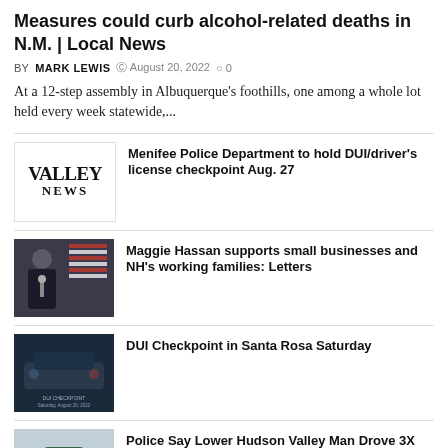Measures could curb alcohol-related deaths in N.M. | Local News
BY MARK LEWIS  © August 20, 2022  ○ 0
At a 12-step assembly in Albuquerque's foothills, one among a whole lot held every week statewide,...
[Figure (logo): Valley News logo — serif text reading VALLEY NEWS]
Menifee Police Department to hold DUI/driver's license checkpoint Aug. 27
[Figure (photo): Photo of a woman speaking at a podium with an American flag in background]
Maggie Hassan supports small businesses and NH's working families: Letters
[Figure (photo): Photo of a police car at a DUI checkpoint at night with text overlay]
DUI Checkpoint in Santa Rosa Saturday
[Figure (photo): Photo of a highway 87 Thruway sign surrounded by bare trees]
Police Say Lower Hudson Valley Man Drove 3X Over Limit on Thruway